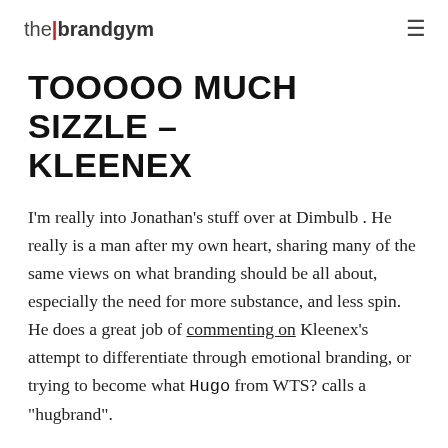the brandgym
TOOOOO MUCH SIZZLE – KLEENEX
I'm really into Jonathan's stuff over at Dimbulb . He really is a man after my own heart, sharing many of the same views on what branding should be all about, especially the need for more substance, and less spin. He does a great job of commenting on Kleenex's attempt to differentiate through emotional branding, or trying to become what Hugo from WTS? calls a "hugbrand".
The Kleenex brand's "Let it out" campaign  encourages us to let our emotions go, so we cry and, I suppose, use